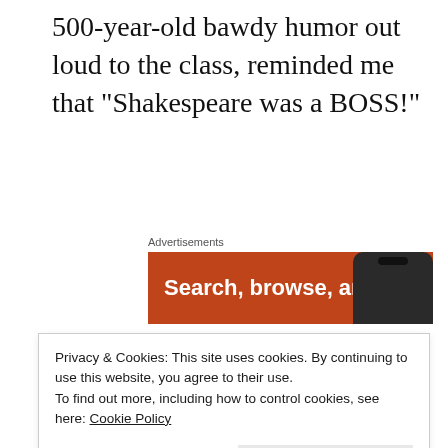500-year-old bawdy humor out loud to the class, reminded me that “Shakespeare was a BOSS!”
Advertisements
[Figure (screenshot): Orange advertisement banner with text 'Search, browse, and' and a dark smartphone silhouette on the right]
Although not yet fully formed, you can see in a teen glimmers of the person that he or she will become.
Teens today have opinions and they speak up for
Privacy & Cookies: This site uses cookies. By continuing to use this website, you agree to their use.
To find out more, including how to control cookies, see here: Cookie Policy
Close and accept
was surprised that one of the first songs my son taught